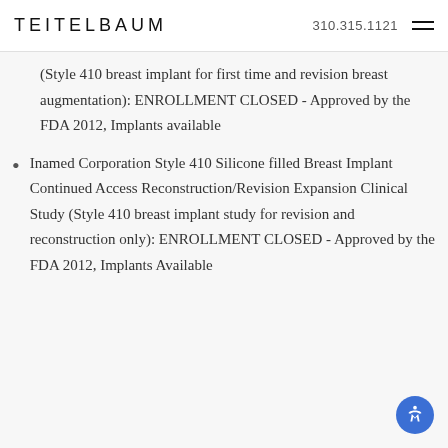TEITELBAUM  310.315.1121
(Style 410 breast implant for first time and revision breast augmentation): ENROLLMENT CLOSED - Approved by the FDA 2012, Implants available
Inamed Corporation Style 410 Silicone filled Breast Implant Continued Access Reconstruction/Revision Expansion Clinical Study (Style 410 breast implant study for revision and reconstruction only): ENROLLMENT CLOSED - Approved by the FDA 2012, Implants Available